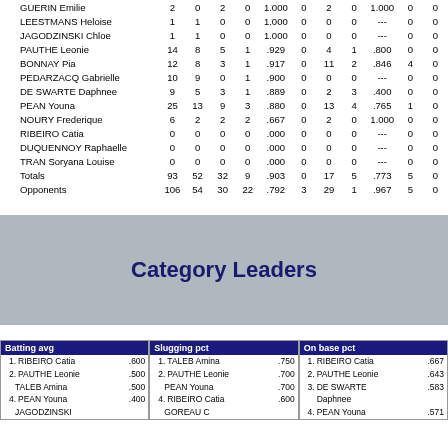| Name |  |  |  |  |  |  |  |  |  |  |
| --- | --- | --- | --- | --- | --- | --- | --- | --- | --- | --- |
| GUERIN Emilie | 2 | 0 | 2 | 0 | 1.000 | 0 | 2 | 0 | 1.000 | 0 | 0 |
| LEESTMANS Heloise | 1 | 1 | 0 | 0 | 1.000 | 0 | 0 | 0 | --- | 0 | 0 |
| JAGODZINSKI Chloe | 1 | 1 | 0 | 0 | 1.000 | 0 | 0 | 0 | --- | 0 | 0 |
| PAUTHE Leonie | 14 | 8 | 5 | 1 | .929 | 0 | 4 | 1 | .800 | 0 | 0 |
| BONNAY Pia | 12 | 8 | 3 | 1 | .917 | 0 | 11 | 2 | .846 | 4 | 0 |
| PEDARZACQ Gabrielle | 10 | 9 | 0 | 1 | .900 | 0 | 0 | 0 | --- | 0 | 0 |
| DE SWARTE Daphnee | 9 | 5 | 3 | 1 | .889 | 0 | 2 | 3 | .400 | 0 | 0 |
| PEAN Youna | 25 | 13 | 9 | 3 | .880 | 0 | 13 | 4 | .765 | 1 | 0 |
| NOURY Frederique | 6 | 2 | 2 | 2 | .667 | 0 | 2 | 0 | 1.000 | 0 | 0 |
| RIBEIRO Catia | 0 | 0 | 0 | 0 | .000 | 0 | 0 | 0 | --- | 0 | 0 |
| DUQUENNOY Raphaelle | 0 | 0 | 0 | 0 | .000 | 0 | 0 | 0 | --- | 0 | 0 |
| TRAN Soryana Louise | 0 | 0 | 0 | 0 | .000 | 0 | 0 | 0 | --- | 0 | 0 |
| Totals | 93 | 52 | 32 | 9 | .903 | 0 | 17 | 5 | .773 | 5 | 0 |
| Opponents | 106 | 54 | 30 | 22 | .792 | 3 | 29 | 1 | .967 | 5 | 0 |
Category Leaders
| Batting avg |  |
| --- | --- |
| 1. RIBEIRO Catia | .600 |
| 2. PAUTHE Leonie | .500 |
| TALEB Amina | .500 |
| 4. PEAN Youna | .400 |
| JAGODZINSKI |  |
| Slugging pct |  |
| --- | --- |
| 1. TALEB Amina | .750 |
| 2. PAUTHE Leonie | .700 |
| PEAN Youna | .700 |
| 4. RIBEIRO Catia | .600 |
| GOREAU C |  |
| On base pct |  |
| --- | --- |
| 1. RIBEIRO Catia | .667 |
| 2. PAUTHE Leonie | .643 |
| 3. DE SWARTE Daphnee | .583 |
| 4. PEAN Youna | .571 |